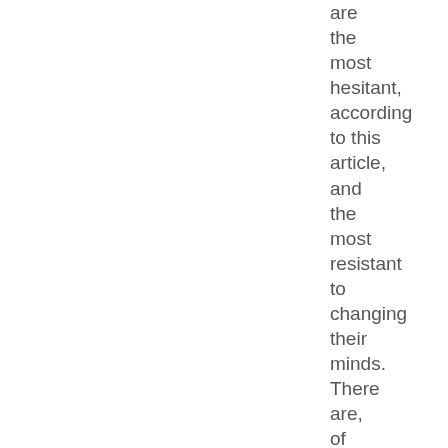are the most hesitant, according to this article, and the most resistant to changing their minds. There are, of course, a few caveats here. This